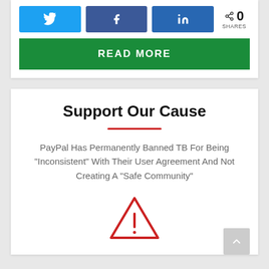[Figure (other): Social share buttons: Twitter (blue), Facebook (dark blue), LinkedIn (dark blue), and a share icon with 0 SHARES count]
READ MORE
Support Our Cause
PayPal Has Permanently Banned TB For Being “Inconsistent” With Their User Agreement And Not Creating A “Safe Community”
[Figure (illustration): Red triangle warning/alert icon with exclamation mark]